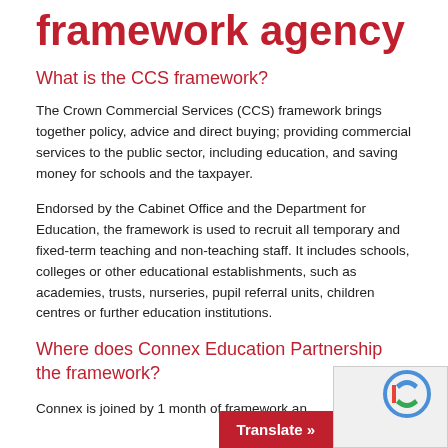framework agency
What is the CCS framework?
The Crown Commercial Services (CCS) framework brings together policy, advice and direct buying; providing commercial services to the public sector, including education, and saving money for schools and the taxpayer.
Endorsed by the Cabinet Office and the Department for Education, the framework is used to recruit all temporary and fixed-term teaching and non-teaching staff. It includes schools, colleges or other educational establishments, such as academies, trusts, nurseries, pupil referral units, children centres or further education institutions.
Where does Connex Education Partnership the framework?
Connex is joined by 1 month of framework and…